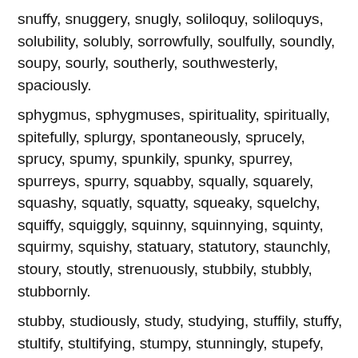snuffy, snuggery, snugly, soliloquy, soliloquys, solubility, solubly, sorrowfully, soulfully, soundly, soupy, sourly, southerly, southwesterly, spaciously.
sphygmus, sphygmuses, spirituality, spiritually, spitefully, splurgy, spontaneously, sprucely, sprucy, spumy, spunkily, spunky, spurrey, spurreys, spurry, squabby, squally, squarely, squashy, squatly, squatty, squeaky, squelchy, squiffy, squiggly, squinny, squinnying, squinty, squirmy, squishy, statuary, statutory, staunchly, stoury, stoutly, strenuously, stubbily, stubbly, stubbornly.
stubby, studiously, study, studying, stuffily, stuffy, stultify, stultifying, stumpy, stunningly, stupefy, stupefying, stupendously, stupidity, stupidly, sturdily, sturdy, stylus, styluses, suably, suasory, suavely, suavity, subagency, subcategory, subclassify,